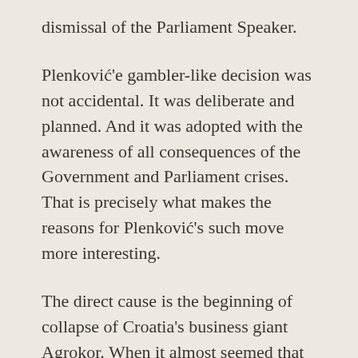dismissal of the Parliament Speaker.
Plenković'e gambler-like decision was not accidental. It was deliberate and planned. And it was adopted with the awareness of all consequences of the Government and Parliament crises. That is precisely what makes the reasons for Plenković's such move more interesting.
The direct cause is the beginning of collapse of Croatia's business giant Agrokor. When it almost seemed that the Government would somehow respond adequately to the questions of its voters by passing an urgent law and with its representative taking over the management of the concern, the Minister of Interior came forth. And, then, all over again, like in the most exciting